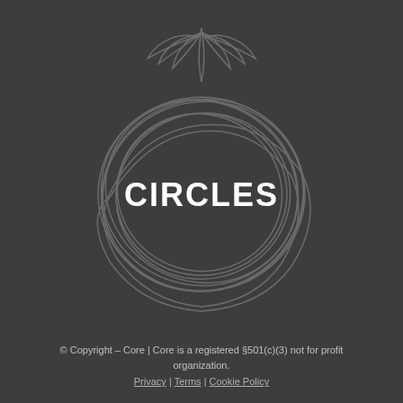[Figure (logo): Circles logo: a stylized pineapple outline drawn with looping circular lines, with the word CIRCLES in bold white text in the center]
© Copyright – Core | Core is a registered §501(c)(3) not for profit organization.
Privacy | Terms | Cookie Policy